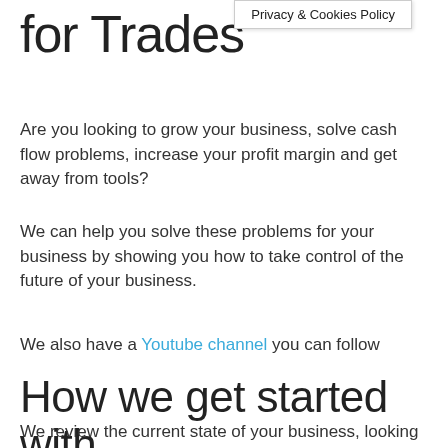[Figure (screenshot): Tooltip/popup box showing 'Privacy & Cookies Policy' text]
for Trades
Are you looking to grow your business, solve cash flow problems, increase your profit margin and get away from tools?
We can help you solve these problems for your business by showing you how to take control of the future of your business.
We also have a Youtube channel you can follow
How we get started with you
We review the current state of your business, looking at issues around cash flow, staff, finances